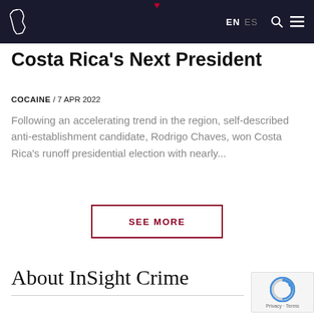EN ES [search] [menu]
Costa Rica's Next President
COCAINE / 7 APR 2022
Following an accelerating trend in the region, self-described anti-establishment candidate, Rodrigo Chaves, won Costa Rica's runoff presidential election with nearly...
SEE MORE
About InSight Crime